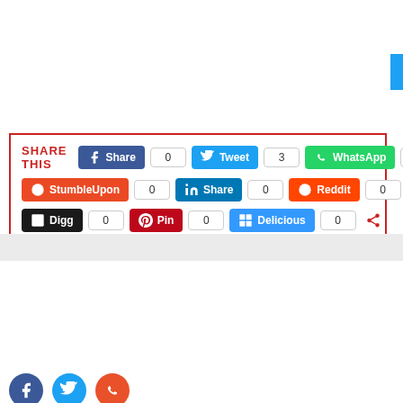[Figure (screenshot): Share This social media buttons bar with Facebook Share (0), Tweet (3), WhatsApp (0), StumbleUpon (0), LinkedIn Share (0), Reddit (0), Digg (0), Pin (0), Delicious (0), and a share more icon]
Author: Confy Scenty (verified) — Confy Scenty is a Unique Tech Blogger whose aim is to make an impact in Technology. Tech is my passion, it is my calling and I'm always happy to answer to it.
[Figure (photo): Profile photo of Confy Scenty, a young man]
[Figure (infographic): Social media icon buttons: Facebook (blue), Twitter (cyan), WhatsApp (orange/red)]